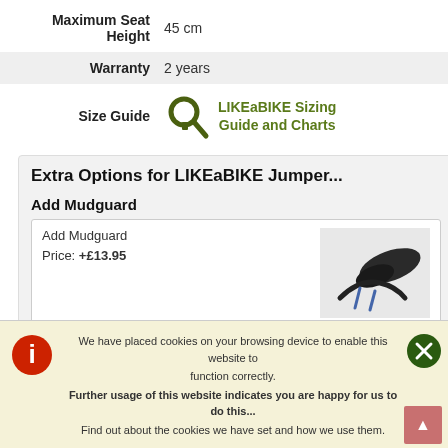| Maximum Seat Height | 45 cm |
| Warranty | 2 years |
Size Guide   LIKEaBIKE Sizing Guide and Charts
Extra Options for LIKEaBIKE Jumper...
Add Mudguard
Add Mudguard
Price: +£13.95
Add brake
We have placed cookies on your browsing device to enable this website to function correctly.
Further usage of this website indicates you are happy for us to do this...
Find out about the cookies we have set and how we use them.